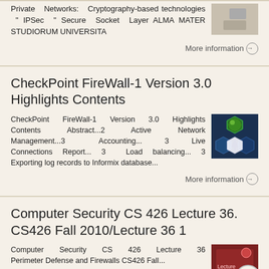Private Networks: Cryptography-based technologies " IPSec " Secure Socket Layer ALMA MATER STUDIORUM UNIVERSITA
More information →
CheckPoint FireWall-1 Version 3.0 Highlights Contents
CheckPoint FireWall-1 Version 3.0 Highlights Contents Abstract...2 Active Network Management...3 Accounting... 3 Live Connections Report... 3 Load balancing... 3 Exporting log records to Informix database...
[Figure (photo): Thumbnail image showing green sphere and hexagonal network nodes on dark background]
More information →
Computer Security CS 426 Lecture 36. CS426 Fall 2010/Lecture 36 1
Computer Security CS 426 Lecture 36 Perimeter Defense and Firewalls CS426 Fall...
[Figure (photo): Thumbnail image of a book or presentation cover with red background]